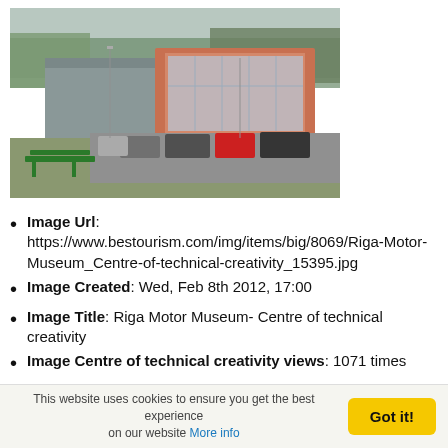[Figure (photo): Exterior photograph of Riga Motor Museum - Centre of technical creativity, showing a modern building with glass facade, parking lot with cars, green bench in foreground, and trees in background. Overcast weather.]
Image Url: https://www.bestourism.com/img/items/big/8069/Riga-Motor-Museum_Centre-of-technical-creativity_15395.jpg
Image Created: Wed, Feb 8th 2012, 17:00
Image Title: Riga Motor Museum- Centre of technical creativity
Image Centre of technical creativity views: 1071 times
Picture Country:
Picture Tags: Latvia, Riga, best places to visit in Riga, sightseeing places of Riga, events in Riga in 2014, popular tourist destination in Europe, the cultural capital of Europe in 2014, nightlife in Riga, the rich cultural life of
This website uses cookies to ensure you get the best experience on our website More info  Got it!